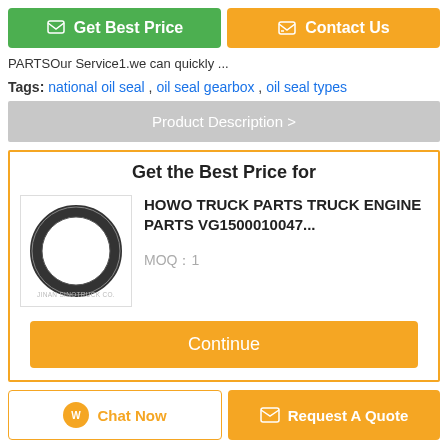[Figure (screenshot): Two buttons: 'Get Best Price' (green) and 'Contact Us' (orange)]
PARTSOur Service1.we can quickly ...
Tags: national oil seal , oil seal gearbox , oil seal types
Product Description >
Get the Best Price for
[Figure (photo): Oil seal ring product image with JINAN SINOTRUCK CO. watermark]
HOWO TRUCK PARTS TRUCK ENGINE PARTS VG1500010047...
MOQ：1
Continue
More  Crankshaft Oil Seal
Chat Now
Request A Quote